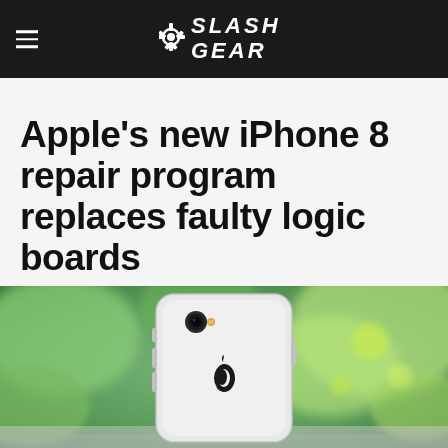SlashGear
Apple's new iPhone 8 repair program replaces faulty logic boards
[Figure (photo): Back view of a white/silver iPhone 8 against a blurred green outdoor background, showing the Apple logo and rear camera]